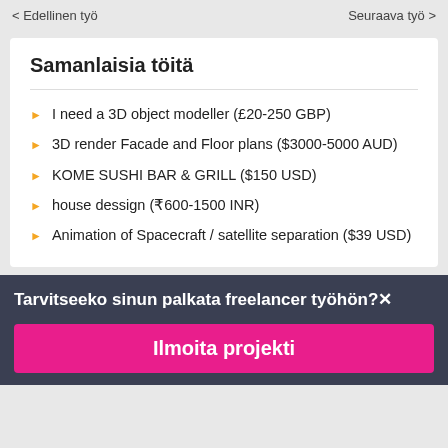< Edellinen työ   Seuraava työ >
Samanlaisia töitä
I need a 3D object modeller (£20-250 GBP)
3D render Facade and Floor plans ($3000-5000 AUD)
KOME SUSHI BAR & GRILL ($150 USD)
house dessign (₹600-1500 INR)
Animation of Spacecraft / satellite separation ($39 USD)
Tarvitseeko sinun palkata freelancer työhön?
Ilmoita projekti